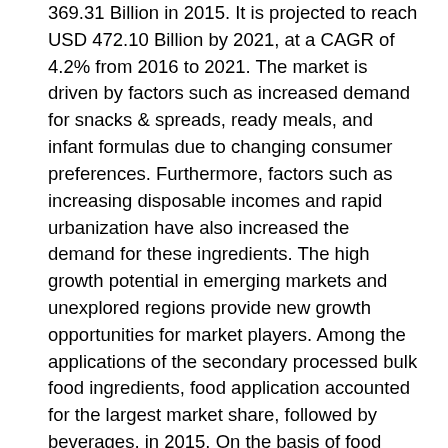369.31 Billion in 2015. It is projected to reach USD 472.10 Billion by 2021, at a CAGR of 4.2% from 2016 to 2021. The market is driven by factors such as increased demand for snacks & spreads, ready meals, and infant formulas due to changing consumer preferences. Furthermore, factors such as increasing disposable incomes and rapid urbanization have also increased the demand for these ingredients. The high growth potential in emerging markets and unexplored regions provide new growth opportunities for market players. Among the applications of the secondary processed bulk food ingredients, food application accounted for the largest market share, followed by beverages, in 2015. On the basis of food applications, the bakery products segment accounted for the largest market share in 2015, whereas the ready meals segment is projected to grow at the highest rate during the forecast period. The demand for ready meals is expected to rise due to changing dietary patterns of consumers due to changing consumer lifestyles.
On the basis of type, the secondary processed bulk food ingredients market is dominated by the emulsifiers, owing to a